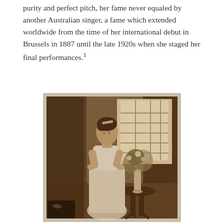purity and perfect pitch, her fame never equaled by another Australian singer, a fame which extended worldwide from the time of her international debut in Brussels in 1887 until the late 1920s when she staged her final performances.[1]
[Figure (photo): Sepia-toned historical photograph of a woman in an Edwardian-era white lace dress, wearing a hair ornament, standing and arranging flowers in a tall vase on a small round table beside a large gridded window, set in a dark wood-panelled room.]